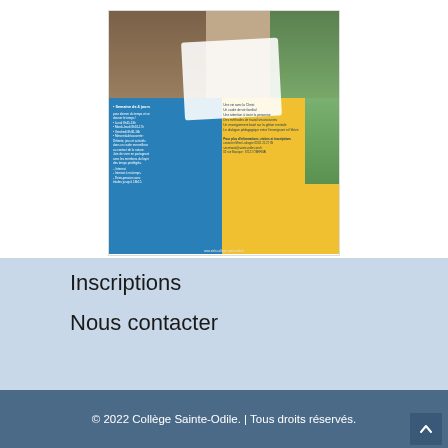[Figure (illustration): Flyer for Collège Sainte-Odile with blue and yellow sections, photos of children, and text about school programs and schedule]
Inscriptions
Nous contacter
© 2022 Collège Sainte-Odile. | Tous droits réservés.